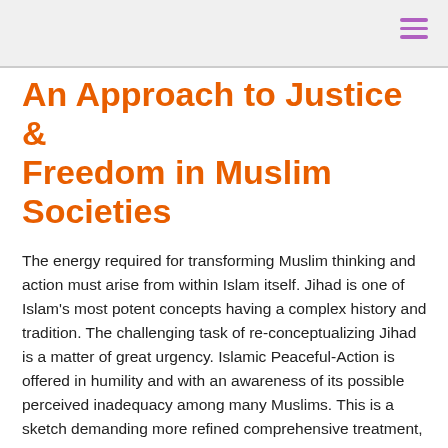An Approach to Justice & Freedom in Muslim Societies
The energy required for transforming Muslim thinking and action must arise from within Islam itself. Jihad is one of Islam's most potent concepts having a complex history and tradition. The challenging task of re-conceptualizing Jihad is a matter of great urgency. Islamic Peaceful-Action is offered in humility and with an awareness of its possible perceived inadequacy among many Muslims. This is a sketch demanding more refined comprehensive treatment, and testing in different Muslim societies. Yet there is utility in this example of re-conceptualization if it helps to provoke other attempts at re-appropriating critical concepts. And God knows best......... Download the full article in pdf attachment (below)